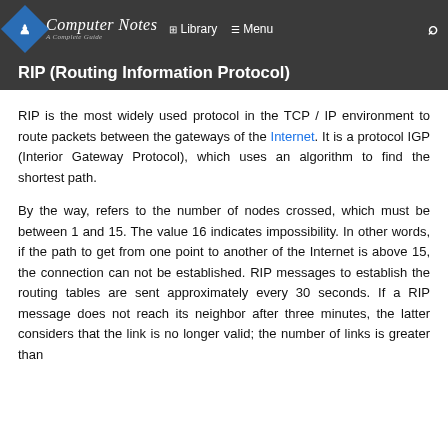Computer Notes – A Complete Guide | Library | Menu
RIP (Routing Information Protocol)
RIP is the most widely used protocol in the TCP / IP environment to route packets between the gateways of the Internet. It is a protocol IGP (Interior Gateway Protocol), which uses an algorithm to find the shortest path.
By the way, refers to the number of nodes crossed, which must be between 1 and 15. The value 16 indicates impossibility. In other words, if the path to get from one point to another of the Internet is above 15, the connection can not be established. RIP messages to establish the routing tables are sent approximately every 30 seconds. If a RIP message does not reach its neighbor after three minutes, the latter considers that the link is no longer valid; the number of links is greater than